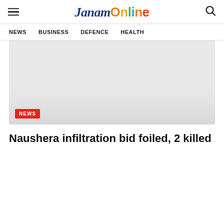JanamOnline
NEWS  BUSINESS  DEFENCE  HEALTH
[Figure (photo): Article image placeholder with light gray background and a NEWS badge in the lower left corner]
Naushera infiltration bid foiled, 2 killed